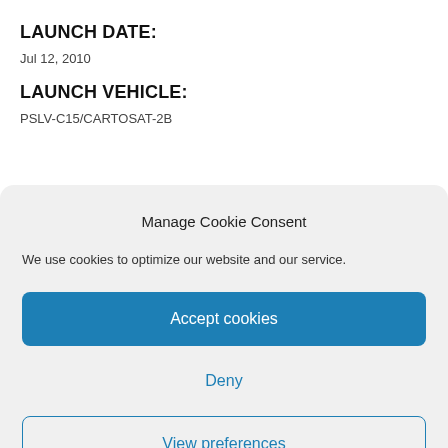LAUNCH DATE:
Jul 12, 2010
LAUNCH VEHICLE:
PSLV-C15/CARTOSAT-2B
Manage Cookie Consent
We use cookies to optimize our website and our service.
Accept cookies
Deny
View preferences